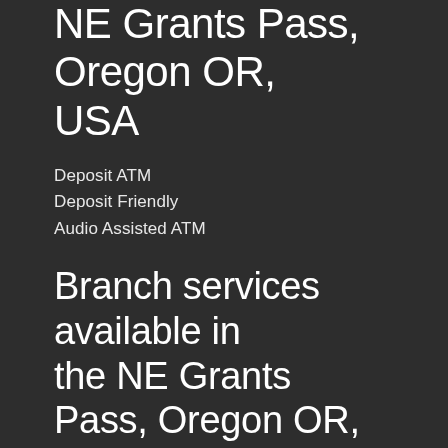NE Grants Pass, Oregon OR, USA
Deposit ATM
Deposit Friendly
Audio Assisted ATM
Branch services available in the NE Grants Pass, Oregon OR, USA
Chase Private Client
Safe Deposit Boxes based on availability
Chase Bank Mortgage bankers / advisor NE Grants Pass, Oregon OR, USA contact